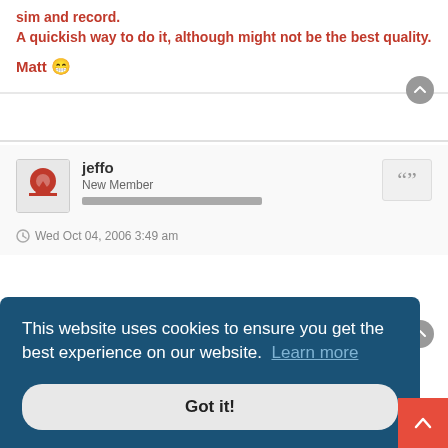sim and record.
A quickish way to do it, although might not be the best quality.
Matt 😁
jeffo
New Member
Wed Oct 04, 2006 3:49 am
ood
This website uses cookies to ensure you get the best experience on our website. Learn more
Got it!
Anonymous